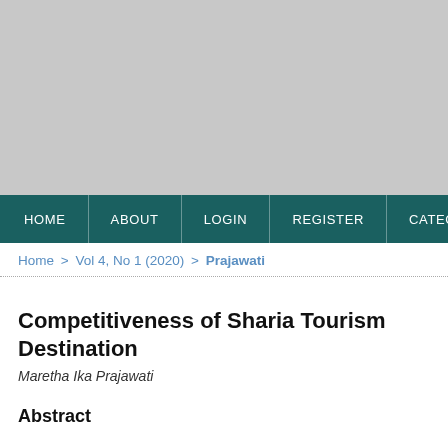[Figure (other): Gray banner image placeholder at the top of the page]
HOME | ABOUT | LOGIN | REGISTER | CATEGORI
Home > Vol 4, No 1 (2020) > Prajawati
Competitiveness of Sharia Tourism Destination
Maretha Ika Prajawati
Abstract